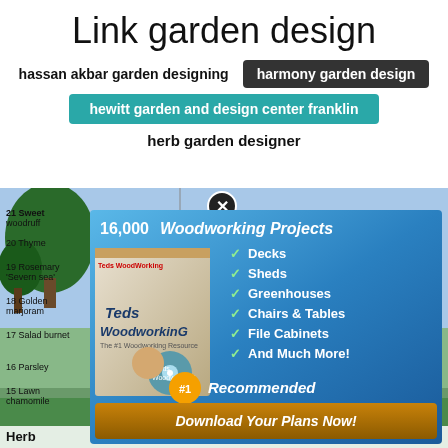Link garden design
hassan akbar garden designing
harmony garden design
hewitt garden and design center franklin
herb garden designer
[Figure (screenshot): Screenshot of a web page showing a garden herb design diagram partially covered by a woodworking advertisement popup. The ad has title '16,000 Woodworking Projects' with checkmarks for Decks, Sheds, Greenhouses, Chairs & Tables, File Cabinets, And Much More! with #1 Recommended and Download Your Plans Now! button. The background shows a herb garden planner with numbered herbs including Sweet woodruff, Thyme, Rosemary 'Severn sea', Golden marjoram, Salad burnet, Parsley, Lawn chamomile, red lemon balm, Calendula, Lavender 'Hidcote'. Bottom text reads 'Herb ... esign'.]